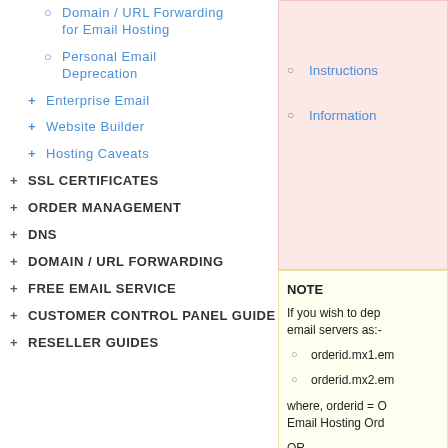○ Domain / URL Forwarding for Email Hosting
○ Personal Email Deprecation
+ Enterprise Email
+ Website Builder
+ Hosting Caveats
+ SSL CERTIFICATES
+ ORDER MANAGEMENT
+ DNS
+ DOMAIN / URL FORWARDING
+ FREE EMAIL SERVICE
+ CUSTOMER CONTROL PANEL GUIDE
+ RESELLER GUIDES
○ Instructions
○ Information
NOTE
If you wish to dep email servers as:-
○ orderid.mx1.em
○ orderid.mx2.em
where, orderid = O Email Hosting Ord OR